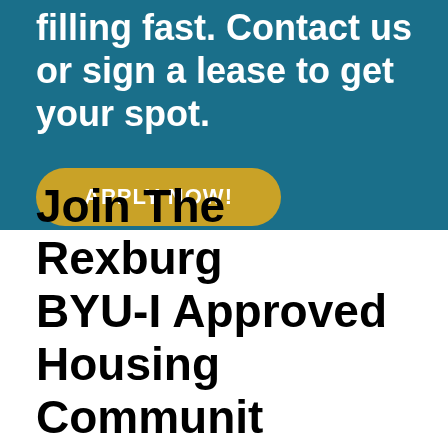filling fast. Contact us or sign a lease to get your spot.
APPLY NOW!
Join The Rexburg BYU-I Approved Housing Communit